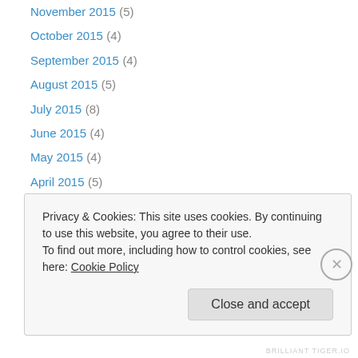November 2015 (5)
October 2015 (4)
September 2015 (4)
August 2015 (5)
July 2015 (8)
June 2015 (4)
May 2015 (4)
April 2015 (5)
March 2015 (5)
February 2015 (6)
January 2015 (7)
December 2014 (7)
November 2014 (5)
Privacy & Cookies: This site uses cookies. By continuing to use this website, you agree to their use. To find out more, including how to control cookies, see here: Cookie Policy
Close and accept